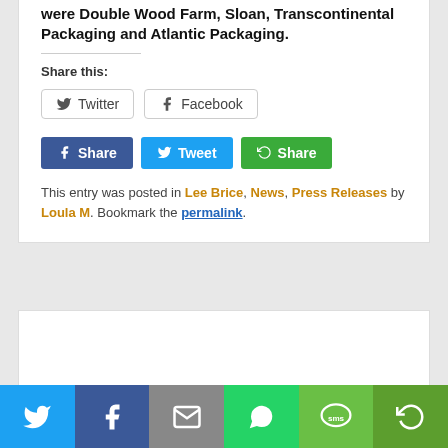were Double Wood Farm, Sloan, Transcontinental Packaging and Atlantic Packaging.
Share this:
[Figure (other): Twitter and Facebook share buttons (outline style)]
[Figure (other): Share, Tweet, and Share social buttons (filled colored style)]
This entry was posted in Lee Brice, News, Press Releases by Loula M. Bookmark the permalink.
[Figure (other): Bottom social sharing bar with Twitter, Facebook, Email, WhatsApp, SMS, and More icons]